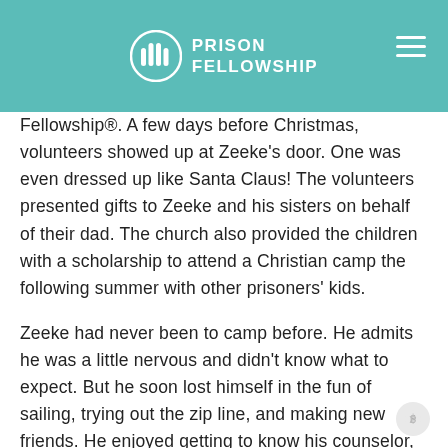PRISON FELLOWSHIP
Fellowship®. A few days before Christmas, volunteers showed up at Zeeke's door. One was even dressed up like Santa Claus! The volunteers presented gifts to Zeeke and his sisters on behalf of their dad. The church also provided the children with a scholarship to attend a Christian camp the following summer with other prisoners' kids.
Zeeke had never been to camp before. He admits he was a little nervous and didn't know what to expect. But he soon lost himself in the fun of sailing, trying out the zip line, and making new friends. He enjoyed getting to know his counselor, who made a special effort to take Zeeke under his wing.